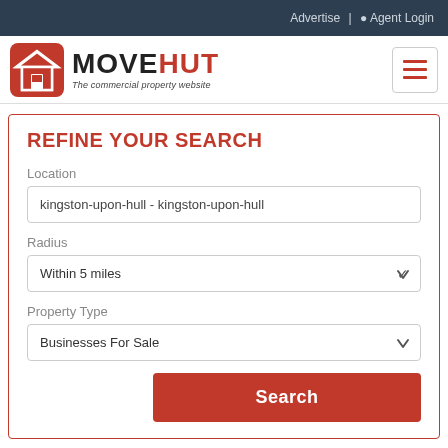Advertise | Agent Login
[Figure (logo): MoveHut logo — red house icon with text MOVEHUT and tagline 'The commercial property website']
REFINE YOUR SEARCH
Location
kingston-upon-hull - kingston-upon-hull
Radius
Within 5 miles
Property Type
Businesses For Sale
Search